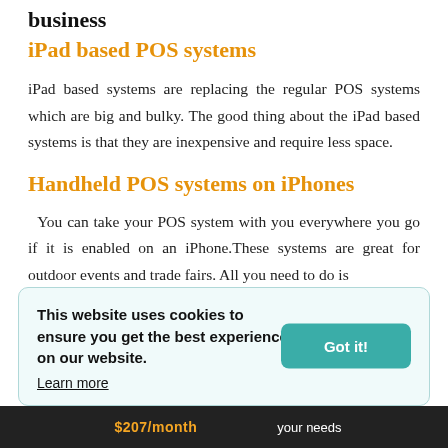business
iPad based POS systems
iPad based systems are replacing the regular POS systems which are big and bulky. The good thing about the iPad based systems is that they are inexpensive and require less space.
Handheld POS systems on iPhones
You can take your POS system with you everywhere you go if it is enabled on an iPhone.These systems are great for outdoor events and trade fairs. All you need to do is
This website uses cookies to ensure you get the best experience on our website.
Learn more
[Figure (screenshot): Dark bottom bar with orange text '$207/month' and white text 'your needs']